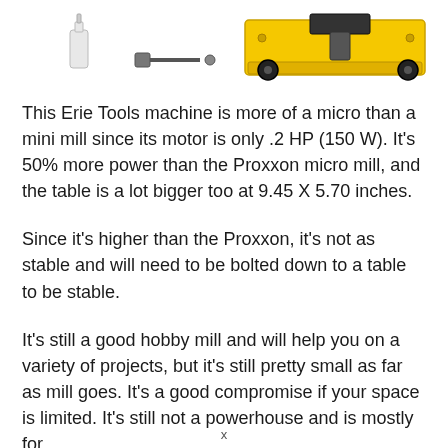[Figure (photo): Product image showing accessories (oil bottle, tool bit) on the left and a yellow Erie Tools mini/micro milling machine on the right.]
This Erie Tools machine is more of a micro than a mini mill since its motor is only .2 HP (150 W). It's 50% more power than the Proxxon micro mill, and the table is a lot bigger too at 9.45 X 5.70 inches.
Since it's higher than the Proxxon, it's not as stable and will need to be bolted down to a table to be stable.
It's still a good hobby mill and will help you on a variety of projects, but it's still pretty small as far as mill goes. It's a good compromise if your space is limited. It's still not a powerhouse and is mostly for
x